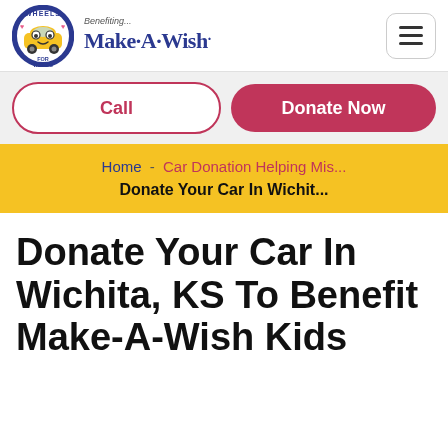[Figure (logo): Wheels for Wishes circular logo with a yellow cartoon car and hearts, next to 'Benefiting... Make-A-Wish.' text logo]
Call
Donate Now
Home - Car Donation Helping Mis... Donate Your Car In Wichit...
Donate Your Car In Wichita, KS To Benefit Make-A-Wish Kids